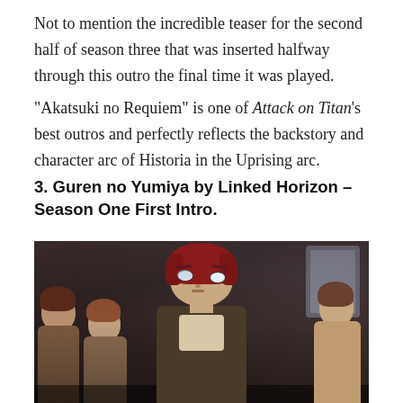Not to mention the incredible teaser for the second half of season three that was inserted halfway through this outro the final time it was played.
“Akatsuki no Requiem” is one of Attack on Titan’s best outros and perfectly reflects the backstory and character arc of Historia in the Uprising arc.
3. Guren no Yumiya by Linked Horizon – Season One First Intro.
[Figure (photo): Anime screenshot from Attack on Titan showing a group of characters. The central figure has red/brown hair and an intense expression facing the viewer, with multiple other characters visible behind them in a dark atmospheric setting.]